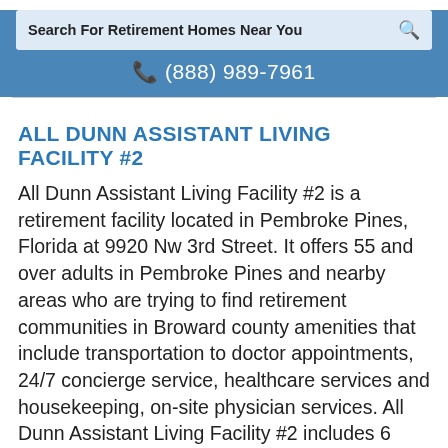[Figure (screenshot): Search bar with text 'Search For Retirement Homes Near You' and a search icon on the right, styled with light blue background]
☎ (888) 989-7961
ALL DUNN ASSISTANT LIVING FACILITY #2
All Dunn Assistant Living Facility #2 is a retirement facility located in Pembroke Pines, Florida at 9920 Nw 3rd Street. It offers 55 and over adults in Pembroke Pines and nearby areas who are trying to find retirement communities in Broward county amenities that include transportation to doctor appointments, 24/7 concierge service, healthcare services and housekeeping, on-site physician services. All Dunn Assistant Living Facility #2 includes 6 total senior living units.